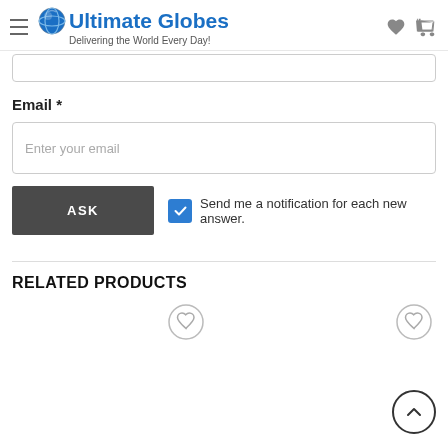Ultimate Globes — Delivering the World Every Day!
Email *
Enter your email
ASK
Send me a notification for each new answer.
RELATED PRODUCTS